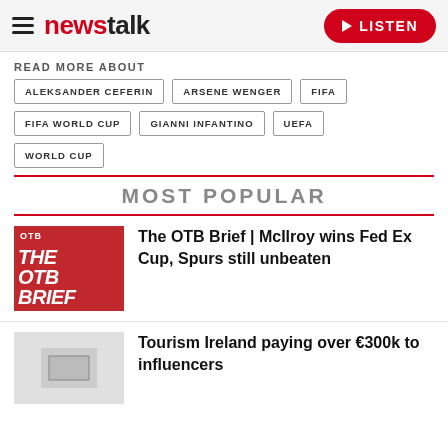newstalk | LISTEN
READ MORE ABOUT
ALEKSANDER CEFERIN
ARSENE WENGER
FIFA
FIFA WORLD CUP
GIANNI INFANTINO
UEFA
WORLD CUP
MOST POPULAR
The OTB Brief | McIlroy wins Fed Ex Cup, Spurs still unbeaten
Tourism Ireland paying over €300k to influencers